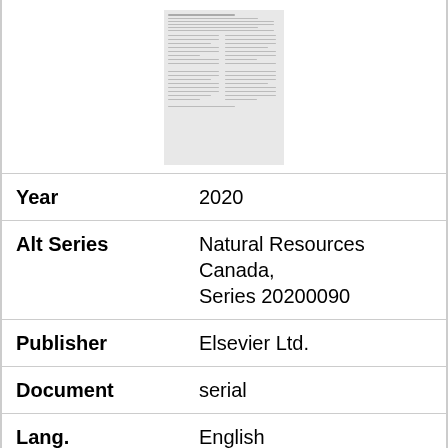[Figure (other): Thumbnail image of a document page showing dense text in two-column layout]
| Field | Value |
| --- | --- |
| Year | 2020 |
| Alt Series | Natural Resources Canada, Series 20200090 |
| Publisher | Elsevier Ltd. |
| Document | serial |
| Lang. | English |
| Media | paper; on-line; digital |
| File format | pdf; html |